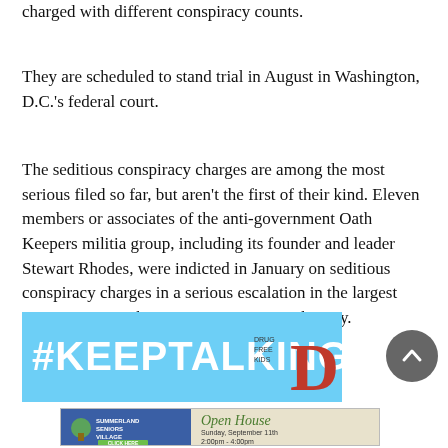charged with different conspiracy counts.
They are scheduled to stand trial in August in Washington, D.C.'s federal court.
The seditious conspiracy charges are among the most serious filed so far, but aren't the first of their kind. Eleven members or associates of the anti-government Oath Keepers militia group, including its founder and leader Stewart Rhodes, were indicted in January on seditious conspiracy charges in a serious escalation in the largest investigation in the Justice Department's history.
[Figure (infographic): #KEEPTALKING Drug Free Kids advertisement banner with light blue background]
[Figure (infographic): Summerland Seniors Village Open House advertisement: Sunday, September 11th 2:00pm - 4:00pm, Click Here button]